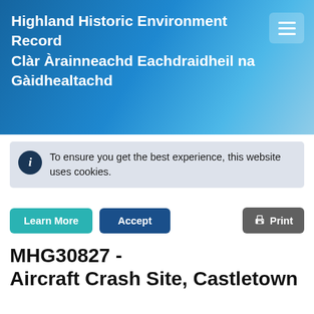Highland Historic Environment Record Clàr Àrainneachd Eachdraidheil na Gàidhealtachd
To ensure you get the best experience, this website uses cookies.
Learn More
Accept
Print
MHG30827 - Aircraft Crash Site, Castletown
Summary
Whitley aircraft crash site
Type and Period (1)
AIRCRAFT CRASH SITE (CRASHED: 1940 - CRASHED: 1940